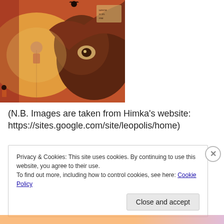[Figure (illustration): A medieval or Byzantine-style religious/allegorical painting depicting scenes with figures, demons, and a large beast/creature head. Rich red, orange and brown tones with multiple small figures in various poses including seated figures at a table, musicians, and demonic figures. Large dark animal head dominates the right portion.]
(N.B. Images are taken from Himka's website: https://sites.google.com/site/leopolis/home)
Privacy & Cookies: This site uses cookies. By continuing to use this website, you agree to their use.
To find out more, including how to control cookies, see here: Cookie Policy